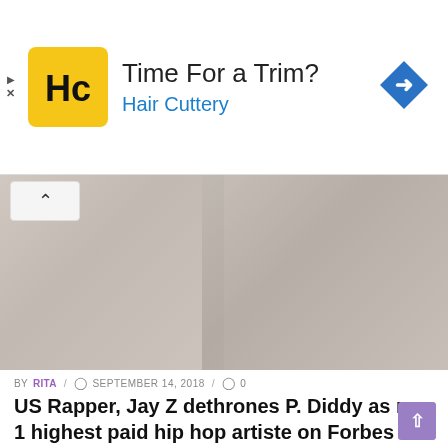[Figure (other): Hair Cuttery advertisement banner with yellow HC logo, 'Time For a Trim?' headline, 'Hair Cuttery' subtitle in blue, and blue diamond arrow icon on right]
[Figure (photo): Blurred/faded photograph of two people in formal attire, partially visible from torso down, with a chevron-up navigation button overlaid in top-left corner]
BY RITA / SEPTEMBER 14, 2018 / 0
US Rapper, Jay Z dethrones P. Diddy as no 1 highest paid hip hop artiste on Forbes
By Patricia Uyeh US Rapper and business mogul, JAY-Z has dethroned Diddy to take the No. 1 spot on Forbes' highest paid Hip Hop artistes list. ...